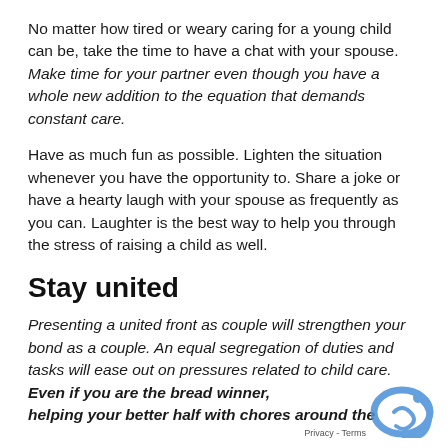No matter how tired or weary caring for a young child can be, take the time to have a chat with your spouse. Make time for your partner even though you have a whole new addition to the equation that demands constant care.
Have as much fun as possible. Lighten the situation whenever you have the opportunity to. Share a joke or have a hearty laugh with your spouse as frequently as you can. Laughter is the best way to help you through the stress of raising a child as well.
Stay united
Presenting a united front as couple will strengthen your bond as a couple. An equal segregation of duties and tasks will ease out on pressures related to child care. Even if you are the bread winner, helping your better half with chores around the